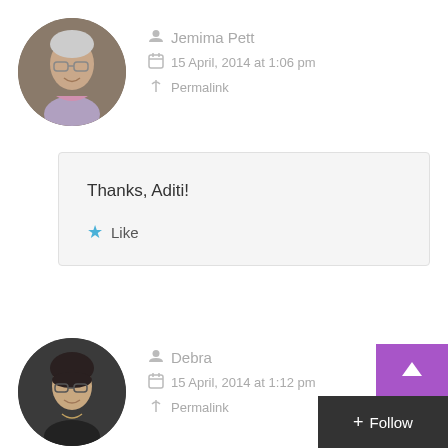[Figure (photo): Circular avatar photo of Jemima Pett, older woman with gray hair and glasses]
Jemima Pett
15 April, 2014 at 1:06 pm
Permalink
Thanks, Aditi!
Like
[Figure (photo): Circular avatar photo of Debra, woman with dark hair and glasses]
Debra
15 April, 2014 at 1:12 pm
Permalink
Mike was a lover